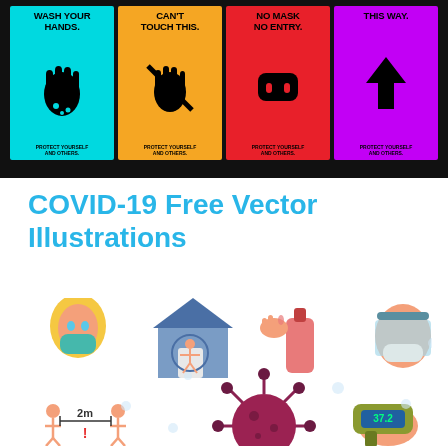[Figure (illustration): Four COVID-19 safety poster signs on black background: 'WASH YOUR HANDS.' (cyan), 'CAN'T TOUCH THIS.' (orange), 'NO MASK NO ENTRY.' (red), 'THIS WAY.' with arrow (purple). Each says 'PROTECT YOURSELF AND OTHERS.' at the bottom.]
COVID-19 Free Vector Illustrations
[Figure (illustration): COVID-19 illustration set: woman with mask, house with person inside, hand sanitizer, face shield, 2m social distancing, coronavirus particle, thermometer scanner.]